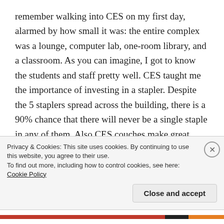remember walking into CES on my first day, alarmed by how small it was: the entire complex was a lounge, computer lab, one-room library, and a classroom. As you can imagine, I got to know the students and staff pretty well. CES taught me the importance of investing in a stapler. Despite the 5 staplers spread across the building, there is a 90% chance that there will never be a single staple in any of them. Also CES couches make great beds when you get locked out of your room at 4am. (And while no one cares to admit it, the real reason for the lost and found clothing box is to provide warmth
Privacy & Cookies: This site uses cookies. By continuing to use this website, you agree to their use.
To find out more, including how to control cookies, see here: Cookie Policy
Close and accept